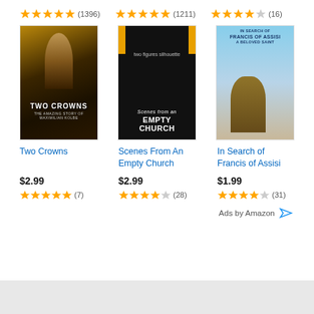[Figure (screenshot): Amazon product listing ad showing three movie products with star ratings, images, titles, and prices]
Two Crowns — $2.99 — ★★★★★ (7)
Scenes From An Empty Church — $2.99 — ★★★★☆ (28)
In Search of Francis of Assisi — $1.99 — ★★★★☆ (31)
Ads by Amazon